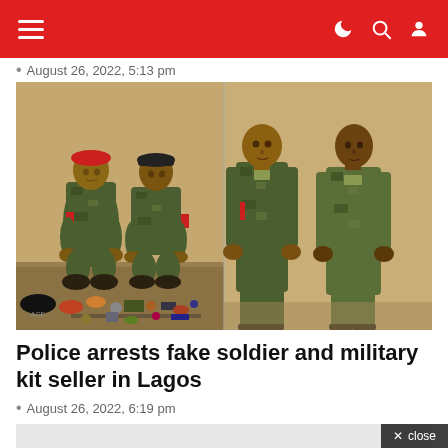Navigation bar with hamburger menu and icons
August 26, 2022, 5:13 pm
[Figure (photo): Four men in camouflage military uniforms. Left half: two men crouching with military items spread on the ground before them. Right half: two men standing upright against a wall. All wear camouflage fatigues with red armbands.]
Police arrests fake soldier and military kit seller in Lagos
August 26, 2022, 6:19 pm